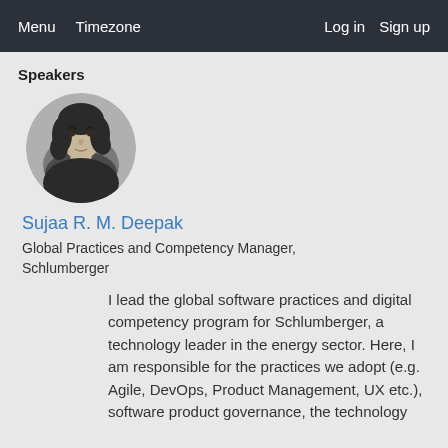Menu   Timezone   Log in   Sign up
Speakers
[Figure (photo): Black and white circular portrait photo of a woman with curly dark hair, Sujaa R. M. Deepak]
Sujaa R. M. Deepak
Global Practices and Competency Manager, Schlumberger
I lead the global software practices and digital competency program for Schlumberger, a technology leader in the energy sector. Here, I am responsible for the practices we adopt (e.g. Agile, DevOps, Product Management, UX etc.), software product governance, the technology